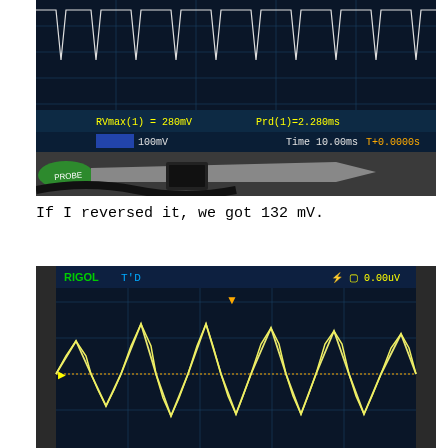[Figure (photo): Photograph of an oscilloscope screen showing a waveform with a probe/cable in the foreground. The screen displays: RVmax(1) = 280mV, Prd(1) = 2.280ms, 100mV, Time 10.00ms, T+0.0000s. A green probe tip and gray oscilloscope probe are visible.]
If I reversed it, we got 132 mV.
[Figure (photo): Photograph of a RIGOL oscilloscope screen (TD mode, 0.00uV trigger) showing a waveform with alternating positive and negative peaks - a sinusoidal-like signal with the waveform shown in yellow/white against a dark blue grid background.]